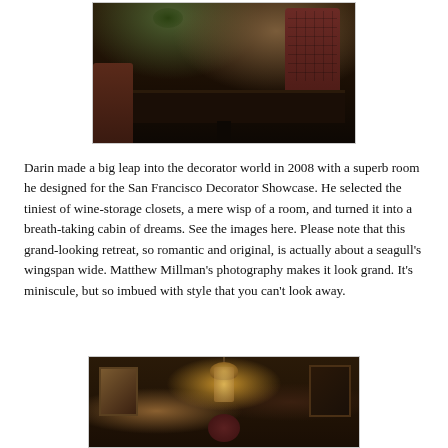[Figure (photo): Dark interior photo showing a large dark wooden dining table with trestle base, a tufted pink/mauve high-back chair on the right, and plants in the background. Moody, dark lighting.]
Darin made a big leap into the decorator world in 2008 with a superb room he designed for the San Francisco Decorator Showcase. He selected the tiniest of wine-storage closets, a mere wisp of a room, and turned it into a breath-taking cabin of dreams. See the images here. Please note that this grand-looking retreat, so romantic and original, is actually about a seagull's wingspan wide. Matthew Millman's photography makes it look grand. It's miniscule, but so imbued with style that you can't look away.
[Figure (photo): Warm-toned interior photo of a small ornate room with wood paneling, portrait paintings on walls, a pendant light fixture, and a round red chair. Very intimate cabin-like atmosphere.]